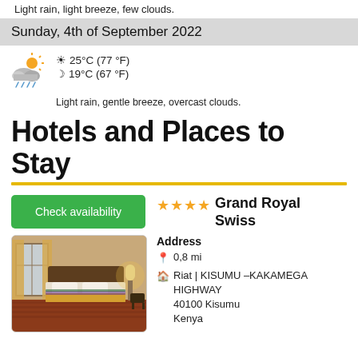Light rain, light breeze, few clouds.
Sunday, 4th of September 2022
☀ 25°C (77 °F)
🌙 19°C (67 °F)
Light rain, gentle breeze, overcast clouds.
Hotels and Places to Stay
Check availability
[Figure (photo): Hotel room interior with bed, warm lighting, curtains and furniture]
★★★★ Grand Royal Swiss
Address
📍 0,8 mi
🏠 Riat | KISUMU –KAKAMEGA HIGHWAY
40100 Kisumu
Kenya